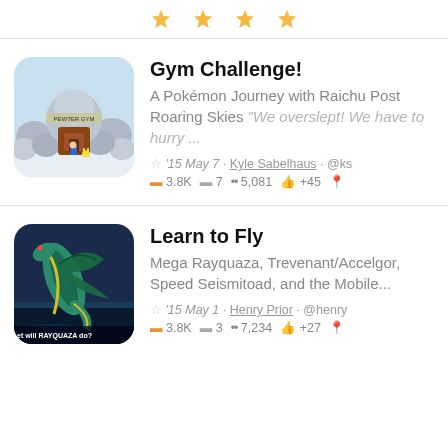[Figure (screenshot): Top decorative bar with star/rating icons in orange]
[Figure (screenshot): Gym Challenge article card with Pokemon Pewter Gym image]
Gym Challenge!
A Pokémon Journey with Raichu Post Roaring Skies "We overslept! We have to hurry ...
'15 May 7 · Kyle Sabelhaus · @ks
3.8K   7   •• 5,081  +45
[Figure (screenshot): Learn to Fly article card with Mega Rayquaza image]
Learn to Fly
Mega Rayquaza, Trevenant/Accelgor, Speed Seismitoad, and the Mobile...
'15 May 1 · Henry Prior · @henry
3.8K   3   •• 7,234  +27